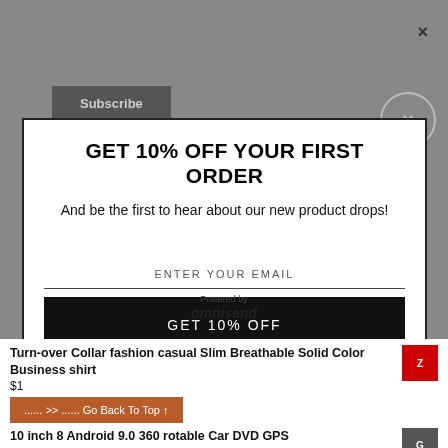Subscribe
×
GET 10% OFF YOUR FIRST ORDER
And be the first to hear about our new product drops!
ENTER YOUR EMAIL
GET 10% OFF
Powered by omnisend
Turn-over Collar fashion casual Slim Breathable Solid Color Business shirt
$1
...... >> ...... Go Back To Top ↑
10 inch 8 Android 9.0 360 rotable Car DVD GPS